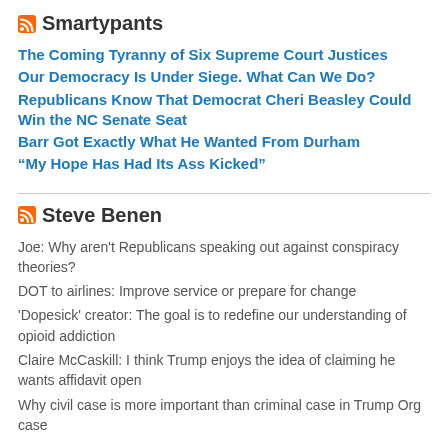Smartypants
The Coming Tyranny of Six Supreme Court Justices
Our Democracy Is Under Siege. What Can We Do?
Republicans Know That Democrat Cheri Beasley Could Win the NC Senate Seat
Barr Got Exactly What He Wanted From Durham
“My Hope Has Had Its Ass Kicked”
Steve Benen
Joe: Why aren't Republicans speaking out against conspiracy theories?
DOT to airlines: Improve service or prepare for change
'Dopesick' creator: The goal is to redefine our understanding of opioid addiction
Claire McCaskill: I think Trump enjoys the idea of claiming he wants affidavit open
Why civil case is more important than criminal case in Trump Org case